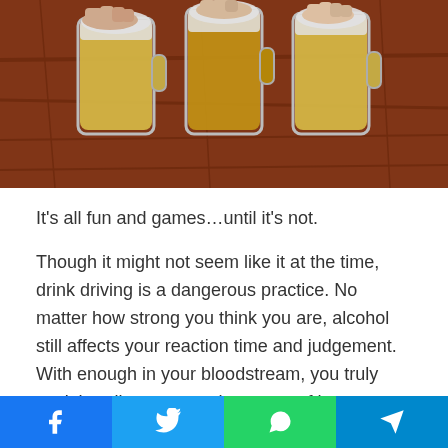[Figure (photo): Multiple beer mugs being clinked together over a wooden table, held by several hands.]
It's all fun and games…until it's not.
Though it might not seem like it at the time, drink driving is a dangerous practice. No matter how strong you think you are, alcohol still affects your reaction time and judgement. With enough in your bloodstream, you truly can't handle a car or other types of heavy machinery safely.
The law puts certain limits in place to help people understand how much alcohol is too much. Go over the limit and you'll face stiff penalties.